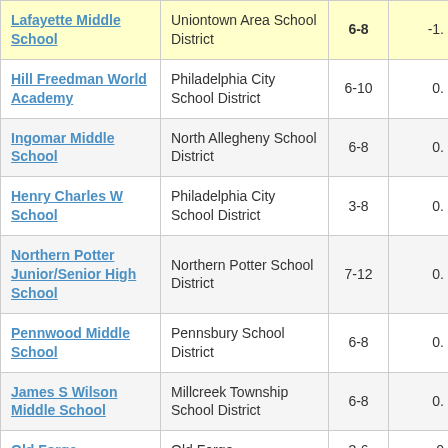| School | District | Grades | Value |
| --- | --- | --- | --- |
| Lafayette Middle School | Uniontown Area School District | 6-8 | -1. |
| Hill Freedman World Academy | Philadelphia City School District | 6-10 | 0. |
| Ingomar Middle School | North Allegheny School District | 6-8 | 0. |
| Henry Charles W School | Philadelphia City School District | 3-8 | 0. |
| Northern Potter Junior/Senior High School | Northern Potter School District | 7-12 | 0. |
| Pennwood Middle School | Pennsbury School District | 6-8 | 0. |
| James S Wilson Middle School | Millcreek Township School District | 6-8 | 0. |
| Old Forge | Old Forge | 3-6 | 0 |